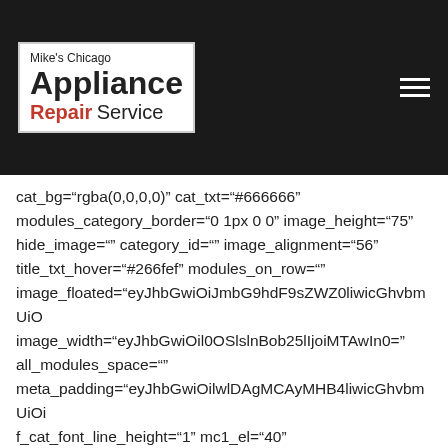[Figure (logo): Mike's Chicago Appliance Repair Service logo — white box on dark header background with text 'Mike's Chicago' small, 'Appliance' large bold, 'Repair' in red and 'Service' in black]
cat_bg="rgba(0,0,0,0)" cat_txt="#666666" modules_category_border="0 1px 0 0" image_height="75" hide_image="" category_id="" image_alignment="56" title_txt_hover="#266fef" modules_on_row="" image_floated="eyJhbGwiOiJmbG9hdF9sZWZ0liwicGhvbmUiO image_width="eyJhbGwiOil0OSlslnBob25lIjoiMTAwIn0=" all_modules_space="" meta_padding="eyJhbGwiOilwlDAgMCAyMHB4liwicGhvbmUiOi f_cat_font_line_height="1" mc1_el="40" cat_txt_hover="#000000" author_txt="#666666" author_txt_hover="#000000" show_excerpt="eyJwb3J0cmFpdCI6Im5vbmUifQ==" f_ex_font_size="eyJsYW5kc2NhcGUiOilxMiJ9" sort="random_posts"][td_flex_block_5 art_title_pos="bottom" info_pos="title"